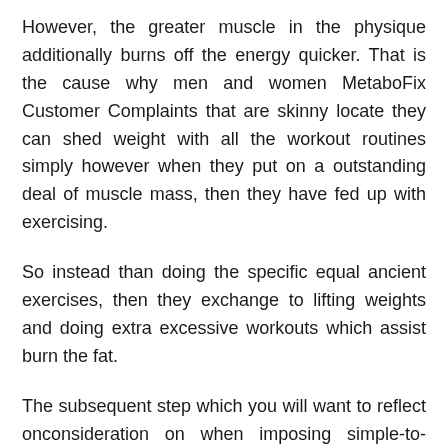However, the greater muscle in the physique additionally burns off the energy quicker. That is the cause why men and women MetaboFix Customer Complaints that are skinny locate they can shed weight with all the workout routines simply however when they put on a outstanding deal of muscle mass, then they have fed up with exercising.
So instead than doing the specific equal ancient exercises, then they exchange to lifting weights and doing extra excessive workouts which assist burn the fat.
The subsequent step which you will want to reflect onconsideration on when imposing simple-to-follow techniques for severe fats loss would be to work out.